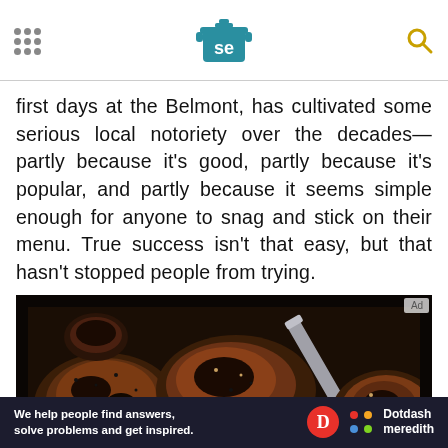Serious Eats header with logo
first days at the Belmont, has cultivated some serious local notoriety over the decades—partly because it's good, partly because it's popular, and partly because it seems simple enough for anyone to snag and stick on their menu. True success isn't that easy, but that hasn't stopped people from trying.
[Figure (photo): Close-up photo of seasoned, charred meat pieces cooking in a dark cast iron pan with a metal utensil visible]
We help people find answers, solve problems and get inspired.
[Figure (logo): Dotdash Meredith logo with colorful dots icon]